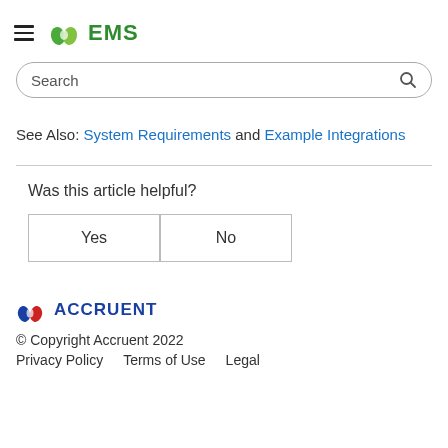EMS
Search
See Also: System Requirements and Example Integrations
Was this article helpful?
| Yes | No |
[Figure (logo): Accruent logo with blue and red droplet icon and ACCRUENT text]
© Copyright Accruent 2022
Privacy Policy    Terms of Use    Legal